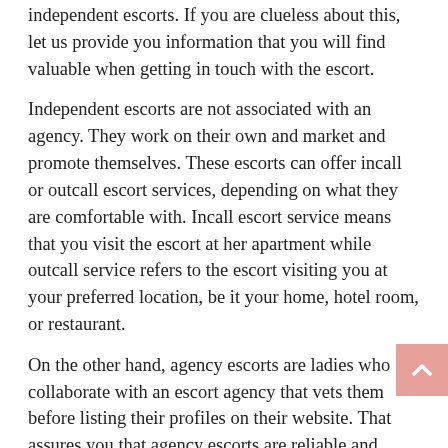independent escorts. If you are clueless about this, let us provide you information that you will find valuable when getting in touch with the escort.
Independent escorts are not associated with an agency. They work on their own and market and promote themselves. These escorts can offer incall or outcall escort services, depending on what they are comfortable with. Incall escort service means that you visit the escort at her apartment while outcall service refers to the escort visiting you at your preferred location, be it your home, hotel room, or restaurant.
On the other hand, agency escorts are ladies who collaborate with an escort agency that vets them before listing their profiles on their website. That assures you that agency escorts are reliable and trustworthy. However, credibility comes from the agency. If it is popular and cares about its reputation, the agency will ensure clients get what they see on the site. Agency escorts offer incall and outcall escort services just like independent escorts and they are usually more expensive as well.
Depending on what you are in the mood for, you can make